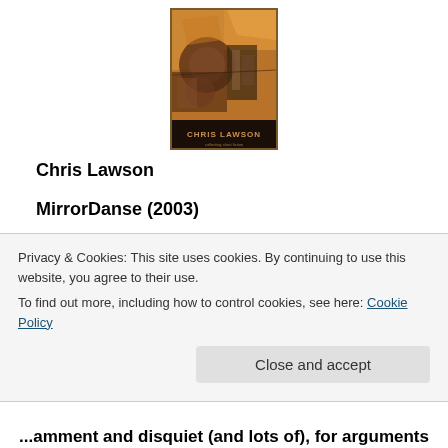[Figure (illustration): Book cover of a Chris Lawson collection published by MirrorDanse, with abstract mosaic/cubist artwork in warm brown, orange, and gold tones, with the author name Chris Lawson at the bottom]
Chris Lawson
MirrorDanse (2003)
ISBN: 0958658390
Reviewed by Simon Petrie (this review was first
Privacy & Cookies: This site uses cookies. By continuing to use this website, you agree to their use.
To find out more, including how to control cookies, see here: Cookie Policy
Close and accept
...amment and disquiet (and lots of), for arguments